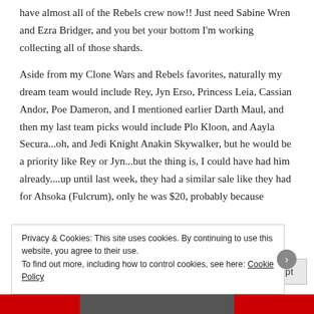have almost all of the Rebels crew now!! Just need Sabine Wren and Ezra Bridger, and you bet your bottom I'm working collecting all of those shards.
Aside from my Clone Wars and Rebels favorites, naturally my dream team would include Rey, Jyn Erso, Princess Leia, Cassian Andor, Poe Dameron, and I mentioned earlier Darth Maul, and then my last team picks would include Plo Kloon, and Aayla Secura...oh, and Jedi Knight Anakin Skywalker, but he would be a priority like Rey or Jyn...but the thing is, I could have had him already....up until last week, they had a similar sale like they had for Ahsoka (Fulcrum), only he was $20, probably because
Privacy & Cookies: This site uses cookies. By continuing to use this website, you agree to their use.
To find out more, including how to control cookies, see here: Cookie Policy
Close and accept